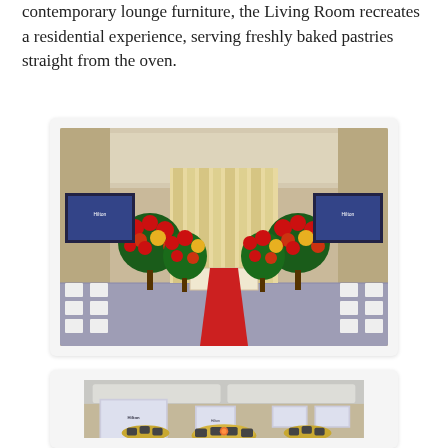contemporary lounge furniture, the Living Room recreates a residential experience, serving freshly baked pastries straight from the oven.
[Figure (photo): Hotel ballroom decorated for a wedding with red floral arrangements on tall stands, a red carpet aisle, white draped chairs, and two large screens displaying a Hilton logo. A decorative backdrop with curtain-like draping is visible at the far end.]
[Figure (photo): Hotel banquet hall set up for a conference or dinner event with round tables covered in gold tablecloths, dark chairs, place settings, and multiple projection screens displaying a Hilton logo. The room has a modern coffered ceiling.]